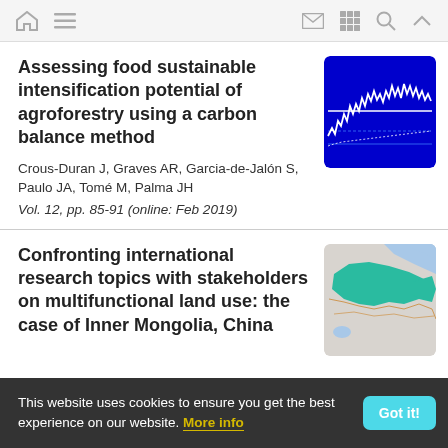Navigation bar with home, menu, mail, grid, search, and up icons
Assessing food sustainable intensification potential of agroforestry using a carbon balance method
Crous-Duran J, Graves AR, Garcia-de-Jalón S, Paulo JA, Tomé M, Palma JH
Vol. 12, pp. 85-91 (online: Feb 2019)
[Figure (continuous-plot): Blue background line chart showing fluctuating white line data over time with dotted reference lines]
Confronting international research topics with stakeholders on multifunctional land use: the case of Inner Mongolia, China
[Figure (map): Map showing Inner Mongolia region in China highlighted in teal/green color against grey background]
This website uses cookies to ensure you get the best experience on our website. More info